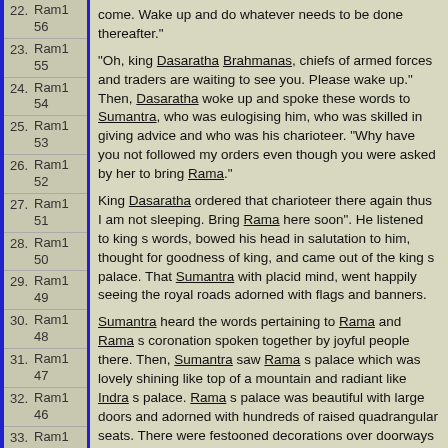22. Ram1 56
23. Ram1 55
24. Ram1 54
25. Ram1 53
26. Ram1 52
27. Ram1 51
28. Ram1 50
29. Ram1 49
30. Ram1 48
31. Ram1 47
32. Ram1 46
33. Ram1 45
34. Ram1 44
come. Wake up and do whatever needs to be done thereafter."
"Oh, king Dasaratha Brahmanas, chiefs of armed forces and traders are waiting to see you. Please wake up." Then, Dasaratha woke up and spoke these words to Sumantra, who was eulogising him, who was skilled in giving advice and who was his charioteer. "Why have you not followed my orders even though you were asked by her to bring Rama."
King Dasaratha ordered that charioteer there again thus I am not sleeping. Bring Rama here soon". He listened to king s words, bowed his head in salutation to him, thought for goodness of king, and came out of the king s palace. That Sumantra with placid mind, went happily seeing the royal roads adorned with flags and banners.
Sumantra heard the words pertaining to Rama and Rama s coronation spoken together by joyful people there. Then, Sumantra saw Rama s palace which was lovely shining like top of a mountain and radiant like Indra s palace. Rama s palace was beautiful with large doors and adorned with hundreds of raised quadrangular seats. There were festooned decorations over doorways with gems and corals. It was adorned with various precious stones and the best of garlands. Pearls were scattered all over abundantly. It was decorated with sandal and aloe woods, spreading out beautiful smells like the peak of